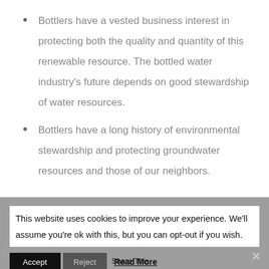Bottlers have a vested business interest in protecting both the quality and quantity of this renewable resource. The bottled water industry's future depends on good stewardship of water resources.
Bottlers have a long history of environmental stewardship and protecting groundwater resources and those of our neighbors.
This website uses cookies to improve your experience. We'll assume you're ok with this, but you can opt-out if you wish.